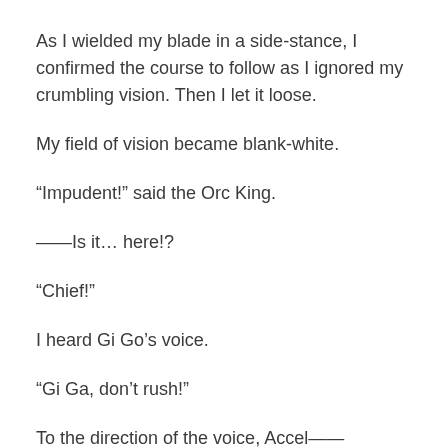As I wielded my blade in a side-stance, I confirmed the course to follow as I ignored my crumbling vision. Then I let it loose.
My field of vision became blank-white.
“Impudent!” said the Orc King.
——Is it… here!?
“Chief!”
I heard Gi Go’s voice.
“Gi Ga, don’t rush!”
To the direction of the voice, Accel——